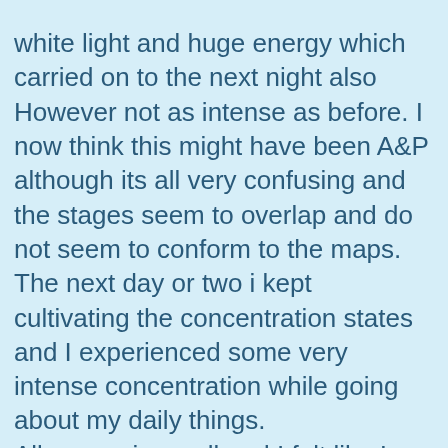white light and huge energy which carried on to the next night also However not as intense as before. I now think this might have been A&P although its all very confusing and the stages seem to overlap and do not seem to conform to the maps. The next day or two i kept cultivating the concentration states and I experienced some very intense concentration while going about my daily things.
All was going well and I felt like I could enter up to the 3rd jhana fairly easily and quickly usually around 10-15min. I felt generally very motivated about my life and even things like my diet,habits and personality improved naturally. In the next day or two I started focusing heavily on insight training as I did not touch upon it at all by that point. I used noting practice.
However I began to find it very hard to be in...